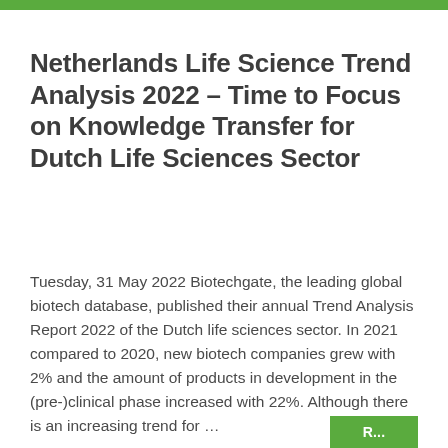Netherlands Life Science Trend Analysis 2022 – Time to Focus on Knowledge Transfer for Dutch Life Sciences Sector
Tuesday, 31 May 2022 Biotechgate, the leading global biotech database, published their annual Trend Analysis Report 2022 of the Dutch life sciences sector. In 2021 compared to 2020, new biotech companies grew with 2% and the amount of products in development in the (pre-)clinical phase increased with 22%. Although there is an increasing trend for …